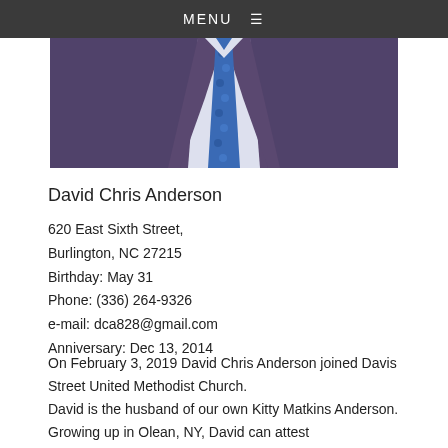MENU
[Figure (photo): A man in a dark navy/purple suit with a blue patterned tie and white dress shirt. Only the torso is visible.]
David Chris Anderson
620 East Sixth Street,
Burlington, NC 27215
Birthday: May 31
Phone: (336) 264-9326
e-mail: dca828@gmail.com
Anniversary: Dec 13, 2014
On February 3, 2019 David Chris Anderson joined Davis Street United Methodist Church.
David is the husband of our own Kitty Matkins Anderson. Growing up in Olean, NY, David can attest